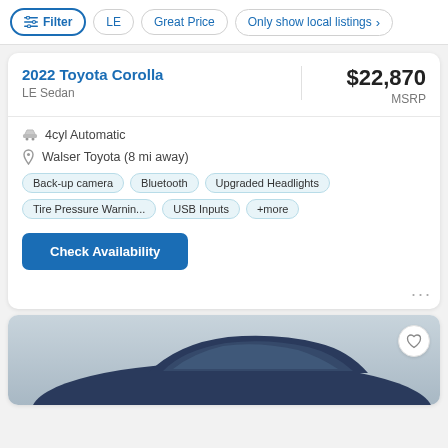Filter | LE | Great Price | Only show local listings
2022 Toyota Corolla
LE Sedan
$22,870 MSRP
4cyl Automatic
Walser Toyota (8 mi away)
Back-up camera
Bluetooth
Upgraded Headlights
Tire Pressure Warnin...
USB Inputs
+more
Check Availability
[Figure (photo): Partial view of a dark blue Toyota Corolla sedan from the side, showing roof and rear portion of the vehicle against a light gray background]